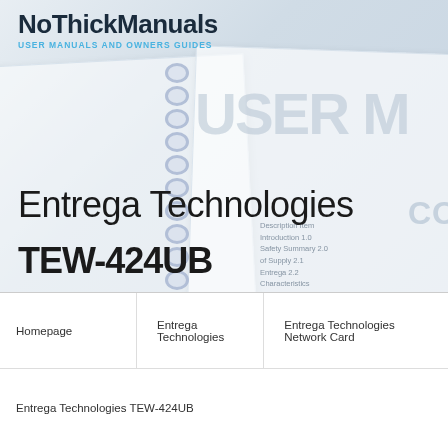NoThickManuals — USER MANUALS AND OWNERS GUIDES
[Figure (photo): Background showing spiral-bound user manual pages with faded text overlay including 'USER M' and table of contents items like 'Description Item', 'Introduction 1.0', 'Safety Summary 2.0', 'Of Supply 2.1', 'Entrega 2.2', 'Characteristics', 'Health Hazards 2.3', 'Cold Burns and Frostbite 2.3.1', 'Effect of Cold on the Lungs 2.3', 'mia 2.3.3']
Entrega Technologies TEW-424UB
View or download the device manual Entrega Technologies TEW-424UB
Homepage | Entrega Technologies | Entrega Technologies Network Card | Entrega Technologies TEW-424UB